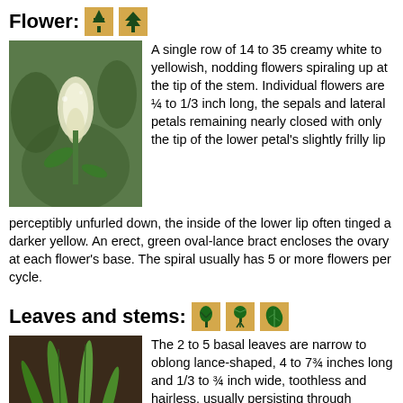Flower:
[Figure (photo): Close-up photo of a creamy white nodding flower]
A single row of 14 to 35 creamy white to yellowish, nodding flowers spiraling up at the tip of the stem. Individual flowers are ¼ to 1/3 inch long, the sepals and lateral petals remaining nearly closed with only the tip of the lower petal's slightly frilly lip perceptibly unfurled down, the inside of the lower lip often tinged a darker yellow. An erect, green oval-lance bract encloses the ovary at each flower's base. The spiral usually has 5 or more flowers per cycle.
Leaves and stems:
[Figure (photo): Photo of narrow basal leaves and stem of plant]
The 2 to 5 basal leaves are narrow to oblong lance-shaped, 4 to 7¾ inches long and 1/3 to ¾ inch wide, toothless and hairless, usually persisting through flowering. The few stem leaves are erect to spreading and reduced to scale-like bracts. The stem is rigid, smooth and hairless at the base with sparse to dense short hairs (pubescent) into the flower spike.